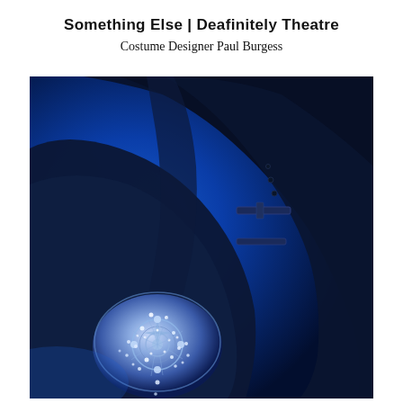Something Else | Deafinitely Theatre
Costume Designer Paul Burgess
[Figure (photo): Close-up photograph bathed in deep blue light showing a dark navy coat or jacket sleeve with buckle/strap details, and at the cuff a heavily jewelled, ornate spherical decoration covered in rhinestones and filigree metalwork with floral patterns. The background is a vivid electric blue gradient.]